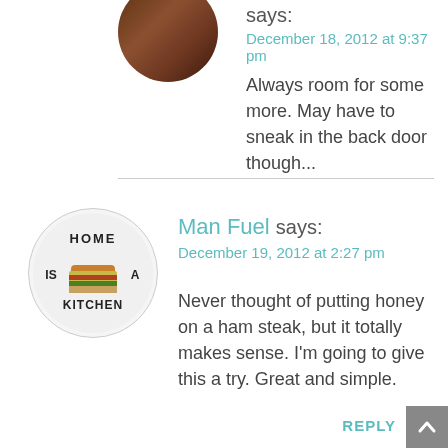[Figure (photo): Circular avatar photo showing food/grilling scene with dark tones]
says:
December 18, 2012 at 9:37 pm
Always room for some more. May have to sneak in the back door though...
[Figure (logo): Circular logo for Man Fuel blog showing a burger with text 'HOME IS A KITCHEN']
Man Fuel says:
December 19, 2012 at 2:27 pm
Never thought of putting honey on a ham steak, but it totally makes sense. I'm going to give this a try. Great and simple.
REPLY